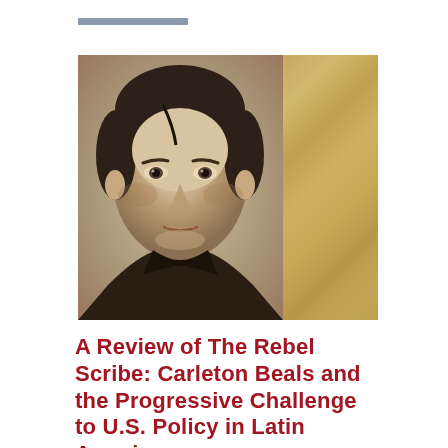[Figure (photo): Composite image: left panel shows a black-and-white portrait photograph of a young man (Carleton Beals) with short hair and an intense gaze; right panel shows the tan/brown spine or cover of an aged book.]
A Review of The Rebel Scribe: Carleton Beals and the Progressive Challenge to U.S. Policy in Latin America